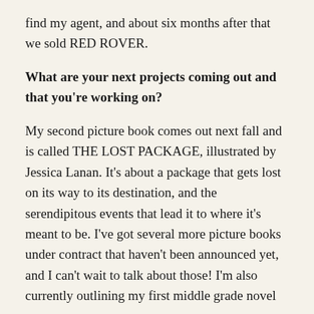find my agent, and about six months after that we sold RED ROVER.
What are your next projects coming out and that you're working on?
My second picture book comes out next fall and is called THE LOST PACKAGE, illustrated by Jessica Lanan. It's about a package that gets lost on its way to its destination, and the serendipitous events that lead it to where it's meant to be. I've got several more picture books under contract that haven't been announced yet, and I can't wait to talk about those! I'm also currently outlining my first middle grade novel